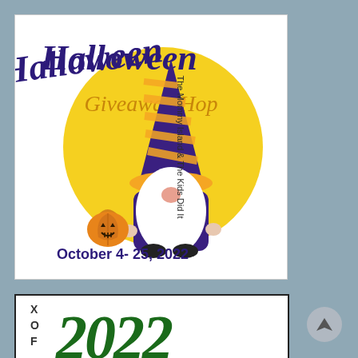[Figure (illustration): Halloween Giveaway Hop promotional image featuring a gnome character in purple and orange striped hat holding a jack-o-lantern pumpkin bucket, set against a yellow circle background. Text reads 'Halloween Giveaway Hop', 'October 4-25, 2022', 'The Mommy Island & The Kids Did It']
[Figure (illustration): Partial image showing 'FOX' text vertically on the left and large green italic '2022' text on the right]